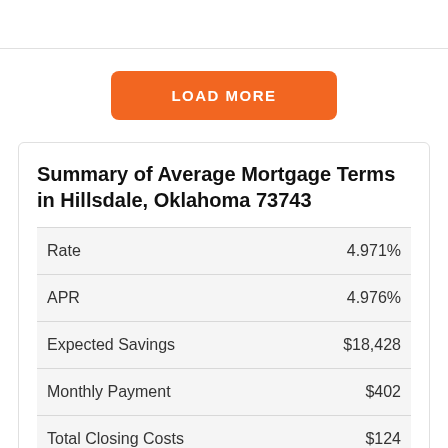[Figure (other): Top navigation bar area, white background with bottom border]
[Figure (other): Orange 'LOAD MORE' button, rounded rectangle]
Summary of Average Mortgage Terms in Hillsdale, Oklahoma 73743
|  |  |
| --- | --- |
| Rate | 4.971% |
| APR | 4.976% |
| Expected Savings | $18,428 |
| Monthly Payment | $402 |
| Total Closing Costs | $124 |